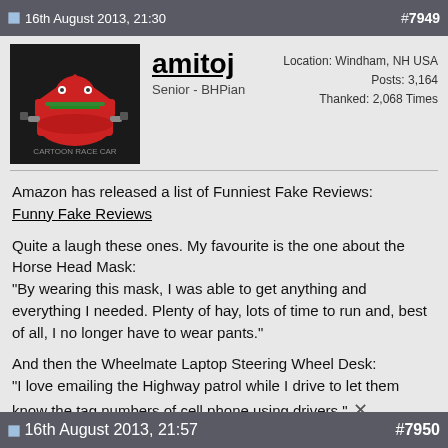16th August 2013, 21:30   #7949
amitoj
Senior - BHPian
Location: Windham, NH USA
Posts: 3,164
Thanked: 2,068 Times
Amazon has released a list of Funniest Fake Reviews:
Funny Fake Reviews

Quite a laugh these ones. My favourite is the one about the Horse Head Mask:
"By wearing this mask, I was able to get anything and everything I needed. Plenty of hay, lots of time to run and, best of all, I no longer have to wear pants."

And then the Wheelmate Laptop Steering Wheel Desk:
"I love emailing the Highway patrol while I drive to let them know the tag numbers of cell phone using drivers."

Read the whole list and have a few laughs!
16th August 2013, 21:57   #7950